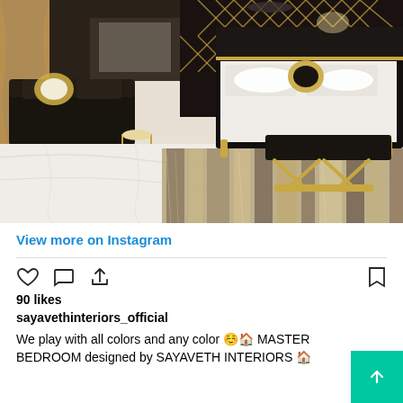[Figure (photo): Luxury master bedroom interior with black and gold furniture, white marble floor, patterned area rug, black sofa with decorative pillows, round gold side table, large bed with white bedding, black and gold headboard wall, and gold bench at foot of bed.]
View more on Instagram
90 likes
sayavethinteriors_official
We play with all colors and any color 😊🏠 MASTER BEDROOM designed by SAYAVETH INTERIORS 🏠